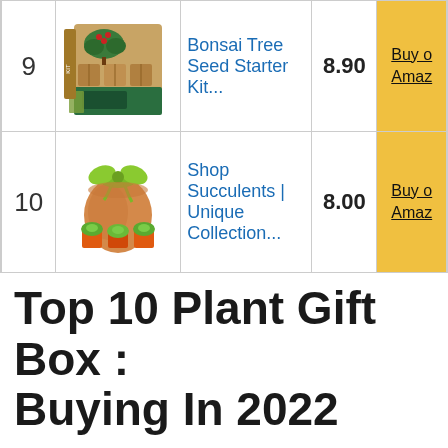| # | Image | Name | Score | Buy |
| --- | --- | --- | --- | --- |
| 9 | [image] | Bonsai Tree Seed Starter Kit... | 8.90 | Buy on Amazon |
| 10 | [image] | Shop Succulents | Unique Collection... | 8.00 | Buy on Amazon |
Top 10 Plant Gift Box : Buying In 2022
1. Bonsai Tree Kit – Mini-Bonsai Plant Growing Kit